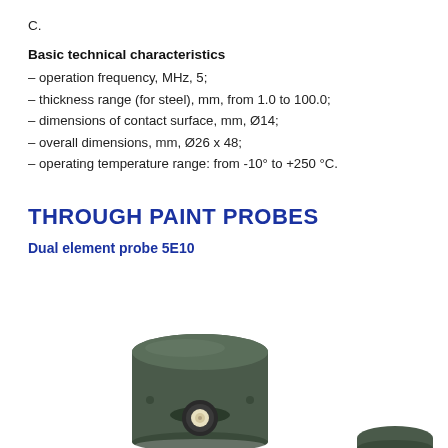C.
Basic technical characteristics
– operation frequency, MHz, 5;
– thickness range (for steel), mm, from 1.0 to 100.0;
– dimensions of contact surface, mm, Ø14;
– overall dimensions, mm, Ø26 x 48;
– operating temperature range: from -10° to +250 °C.
THROUGH PAINT PROBES
Dual element probe 5E10
[Figure (photo): Photo of dual element probe 5E10, a dark green cylindrical ultrasonic probe with BNC connector visible]